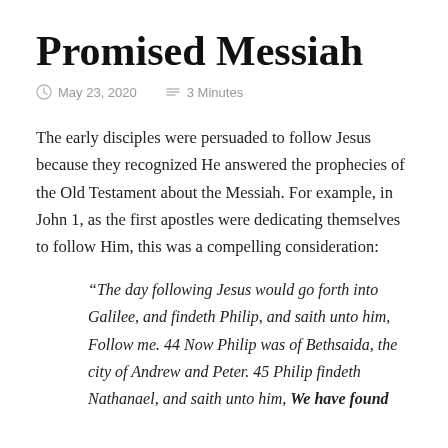Promised Messiah
May 23, 2020   3 Minutes
The early disciples were persuaded to follow Jesus because they recognized He answered the prophecies of the Old Testament about the Messiah. For example, in John 1, as the first apostles were dedicating themselves to follow Him, this was a compelling consideration:
“The day following Jesus would go forth into Galilee, and findeth Philip, and saith unto him, Follow me. 44 Now Philip was of Bethsaida, the city of Andrew and Peter. 45 Philip findeth Nathanael, and saith unto him, We have found